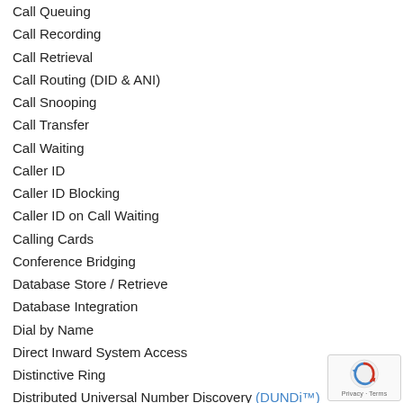Call Queuing
Call Recording
Call Retrieval
Call Routing (DID & ANI)
Call Snooping
Call Transfer
Call Waiting
Caller ID
Caller ID Blocking
Caller ID on Call Waiting
Calling Cards
Conference Bridging
Database Store / Retrieve
Database Integration
Dial by Name
Direct Inward System Access
Distinctive Ring
Distributed Universal Number Discovery (DUNDi™)
Do Not Disturb